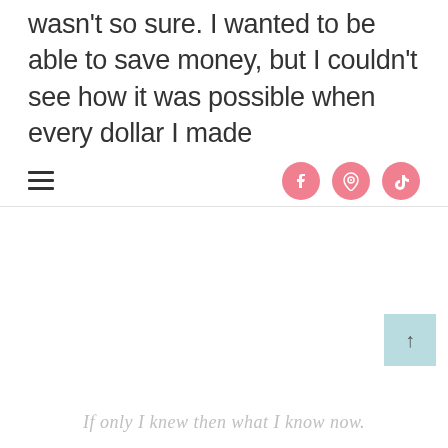wasn't so sure. I wanted to be able to save money, but I couldn't see how it was possible when every dollar I made
[Figure (screenshot): Navigation bar with hamburger menu icon on the left and three pink circular social media icons (Facebook, Pinterest, TikTok) on the right]
[Figure (screenshot): Light teal/blue scroll-to-top button with upward arrow symbol in the bottom right corner]
If only I knew then what I know now.